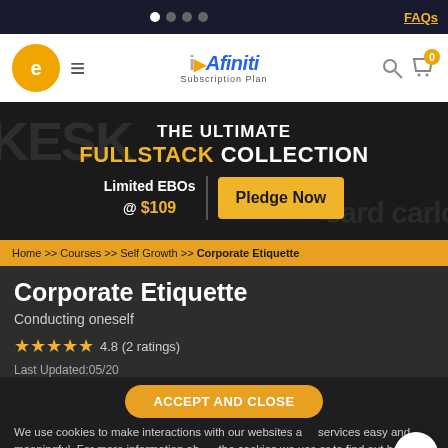FAQs
[Figure (screenshot): Website header with e-logo, hamburger menu, iDAfiniti Subscription Plan logo, search and cart icons]
[Figure (infographic): Banner: THE ULTIMATE FULLSTACK COLLECTION. Limited EBOs @ $109. Pledge Now button.]
Home >> Courses >> Self Growth >> Corporate Etiquette
Corporate Etiquette
Conducting oneself
4.8 (2 ratings)
Last Updated:05/20
We use cookies to make interactions with our websites and services easy and meaningful. For more information about the cookies we use or to find out how you can disable cookies, Click Here.
Aravinth